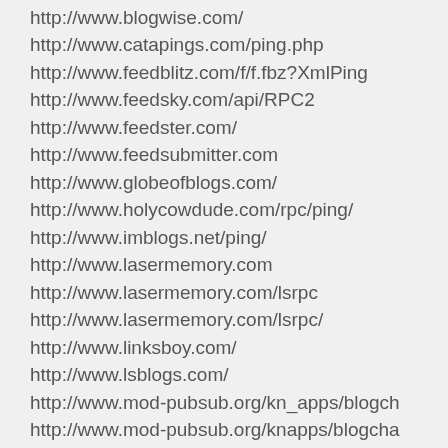http://www.blogwise.com/
http://www.catapings.com/ping.php
http://www.feedblitz.com/f/f.fbz?XmlPing
http://www.feedsky.com/api/RPC2
http://www.feedster.com/
http://www.feedsubmitter.com
http://www.globeofblogs.com/
http://www.holycowdude.com/rpc/ping/
http://www.imblogs.net/ping/
http://www.lasermemory.com
http://www.lasermemory.com/lsrpc
http://www.lasermemory.com/lsrpc/
http://www.linksboy.com/
http://www.lsblogs.com/
http://www.mod-pubsub.org/kn_apps/blogch
http://www.mod-pubsub.org/knapps/blogcha
http://www.mod-pubsub.org/ping.php
http://www.mod-pubsub.orgping.php
http://www.newsisfree.com
http://www.newsisfree.com/RPC